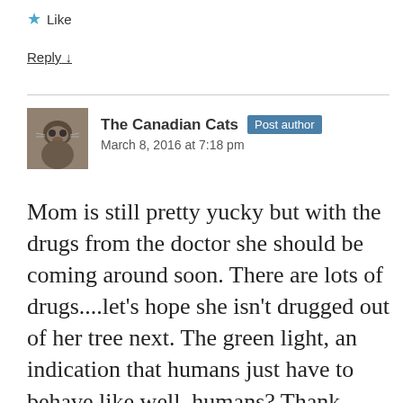★ Like
Reply ↓
The Canadian Cats  Post author
March 8, 2016 at 7:18 pm
Mom is still pretty yucky but with the drugs from the doctor she should be coming around soon. There are lots of drugs....let's hope she isn't drugged out of her tree next. The green light, an indication that humans just have to behave like well, humans? Thank goodness mom doesn't have to meet anyone new face to face...what an image